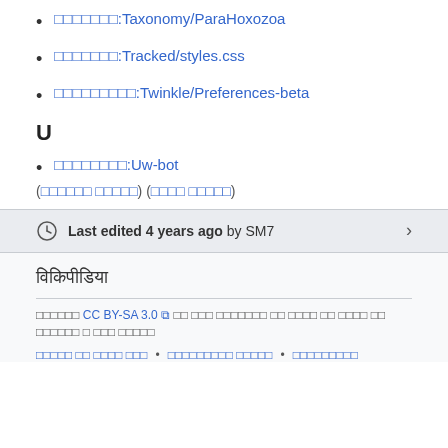□□□□□□□:Taxonomy/ParaHoxozoa
□□□□□□□:Tracked/styles.css
□□□□□□□□□:Twinkle/Preferences-beta
U
□□□□□□□□:Uw-bot
(□□□□□□ □□□□□) (□□□□ □□□□□)
Last edited 4 years ago by SM7
विकिपीडिया
CC BY-SA 3.0 □ □□ □□□ □□□□□□□ □□ □□□□ □□ □□□□ □□ □□□□□□ □ □□□ □□□□□
□□□□□ □□ □□□□ □□□ • □□□□□□□□□ □□□□□ • □□□□□□□□□